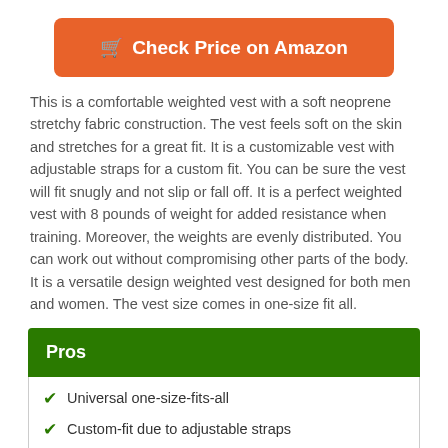[Figure (other): Orange button labeled 'Check Price on Amazon' with a shopping cart icon]
This is a comfortable weighted vest with a soft neoprene stretchy fabric construction. The vest feels soft on the skin and stretches for a great fit. It is a customizable vest with adjustable straps for a custom fit. You can be sure the vest will fit snugly and not slip or fall off. It is a perfect weighted vest with 8 pounds of weight for added resistance when training. Moreover, the weights are evenly distributed. You can work out without compromising other parts of the body. It is a versatile design weighted vest designed for both men and women. The vest size comes in one-size fit all.
Pros
Universal one-size-fits-all
Custom-fit due to adjustable straps
Soft and stretchy fabric keeps comfortable